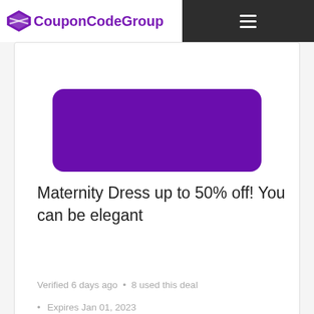CouponCodeGroup
[Figure (other): Purple rounded rectangle button (partial, cropped at top)]
Maternity Dress up to 50% off! You can be elegant
Verified 6 days ago  •  8 used this deal
Expires Jan 01, 2023
[Figure (other): Show Code button in green with diagonal cut revealing 'ed' text on white side]
Details: Get Maternity Dress up to 50% off! You can be ele…
[Figure (other): Purple rounded rectangle button (partial, cropped at bottom of page)]